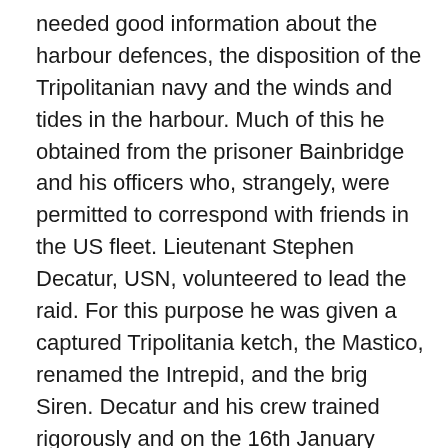needed good information about the harbour defences, the disposition of the Tripolitanian navy and the winds and tides in the harbour. Much of this he obtained from the prisoner Bainbridge and his officers who, strangely, were permitted to correspond with friends in the US fleet. Lieutenant Stephen Decatur, USN, volunteered to lead the raid. For this purpose he was given a captured Tripolitania ketch, the Mastico, renamed the Intrepid, and the brig Siren. Decatur and his crew trained rigorously and on the 16th January 1805, after many difficulties, they began their attack. They disguised their ships as merchant vessels from Malta, but the Intrepid was loaded with explosives and fire making material.
At night they brought the Intrepid alongside the Philadelphia, which they boarded, and quickly overcame the watch crew, laid their explosives and combustibles and